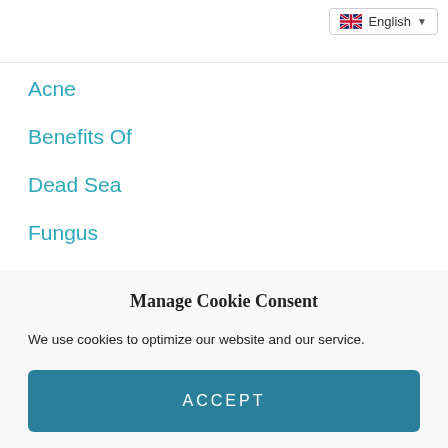English
Acne
Benefits Of
Dead Sea
Fungus
How To
Packaging
Seasonal Tips
Manage Cookie Consent
We use cookies to optimize our website and our service.
ACCEPT